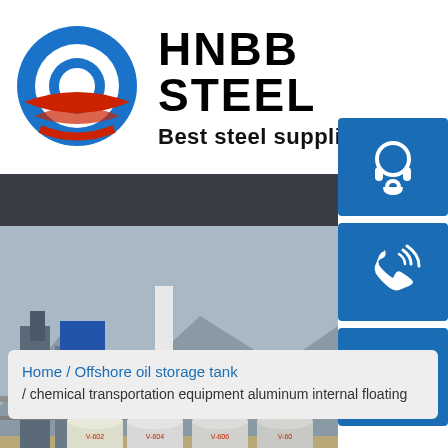[Figure (logo): HNBB Steel company logo with circular Obama-style logo mark and text 'HNBB STEEL / Best steel supplie']
[Figure (photo): Industrial photo of oil storage tanks and refinery equipment at an outdoor facility]
[Figure (infographic): Three blue icon buttons on the right side: customer service headset icon, phone/call icon, and Skype icon]
Home  /  Offshore oil storage tank  /  chemical transportation equipment aluminum internal floating